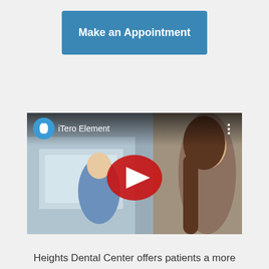Make an Appointment
[Figure (screenshot): YouTube video thumbnail showing two women in a dental office setting, with the title 'iTero Element' and a YouTube play button overlay.]
Heights Dental Center offers patients a more comfortable, convenient, and patient-friendly alternative to the dreaded impression gel that is normally